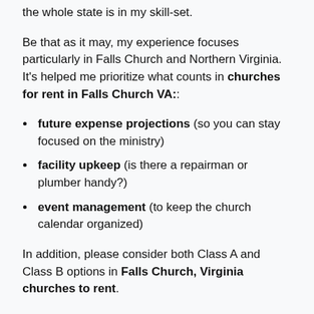the whole state is in my skill-set.
Be that as it may, my experience focuses particularly in Falls Church and Northern Virginia. It's helped me prioritize what counts in churches for rent in Falls Church VA::
future expense projections (so you can stay focused on the ministry)
facility upkeep (is there a repairman or plumber handy?)
event management (to keep the church calendar organized)
In addition, please consider both Class A and Class B options in Falls Church, Virginia churches to rent.
Although Class A properties are better maintained,